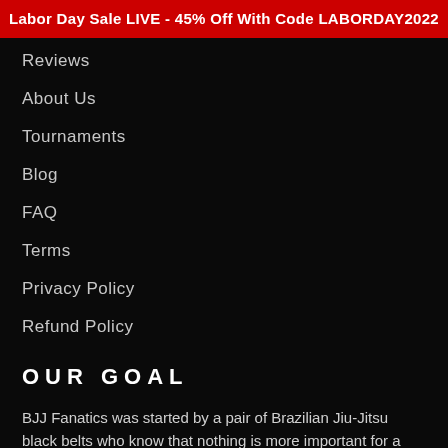Labor Day Sale LIVE - 45% Off With Code LABORDAY2022
Reviews
About Us
Tournaments
Blog
FAQ
Terms
Privacy Policy
Refund Policy
OUR GOAL
BJJ Fanatics was started by a pair of Brazilian Jiu-Jitsu black belts who know that nothing is more important for a fellow fanatic than their time on the mat. Our aim is to create a shop for BJJ Students who